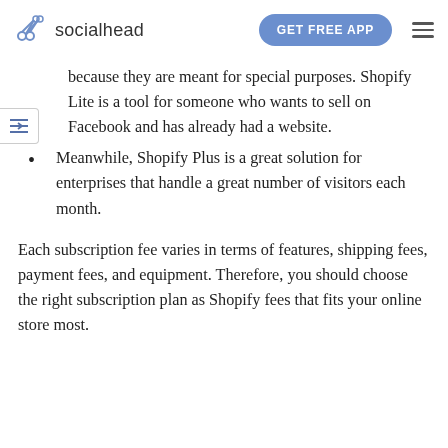socialhead | GET FREE APP
because they are meant for special purposes. Shopify Lite is a tool for someone who wants to sell on Facebook and has already had a website.
Meanwhile, Shopify Plus is a great solution for enterprises that handle a great number of visitors each month.
Each subscription fee varies in terms of features, shipping fees, payment fees, and equipment. Therefore, you should choose the right subscription plan as Shopify fees that fits your online store most.